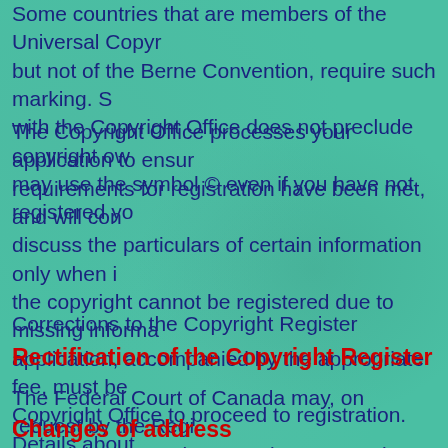Some countries that are members of the Universal Copyright Convention but not of the Berne Convention, require such marking. S... with the Copyright Office does not preclude copyright ow... may use the symbol © even if you have not registered yo...
The Copyright Office processes your application to ensure requirements for registration have been met, and will con... discuss the particulars of certain information only when i... the copyright cannot be registered due to missing informa... application, accompanied by the appropriate fee, must be Copyright Office to proceed to registration. Details about available on the CIPO website (www.cipo.ic.gc.ca/copyr...)
Corrections to the Copyright Register
Rectification of the Copyright Register
The Federal Court of Canada may, on request by the Regi... Copyrights or any interested person, order a rectification
Changes of address